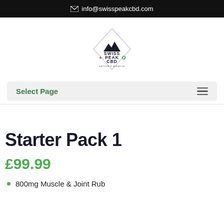✉ info@swisspeakcbd.com
[Figure (logo): Swiss Peak CBD logo with mountain icon, red plus sign and green cannabis leaf, text reads SWISS PEAK CBD NATURE'S MIRACLE]
Select Page
Starter Pack 1
£99.99
800mg Muscle & Joint Rub